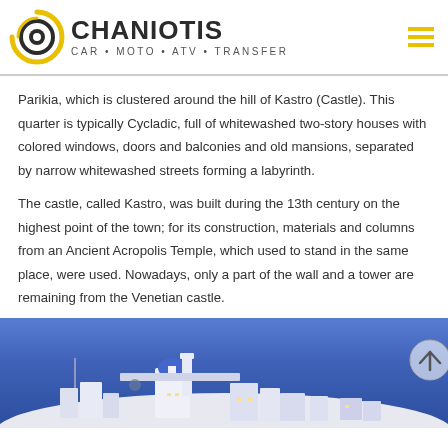CHANIOTIS CAR • MOTO • ATV • TRANSFER
Parikia, which is clustered around the hill of Kastro (Castle). This quarter is typically Cycladic, full of whitewashed two-story houses with colored windows, doors and balconies and old mansions, separated by narrow whitewashed streets forming a labyrinth.
The castle, called Kastro, was built during the 13th century on the highest point of the town; for its construction, materials and columns from an Ancient Acropolis Temple, which used to stand in the same place, were used. Nowadays, only a part of the wall and a tower are remaining from the Venetian castle.
[Figure (photo): Night photo of a white Cycladic hilltop settlement with blue domed church and ancient castle walls lit against a deep blue twilight sky.]